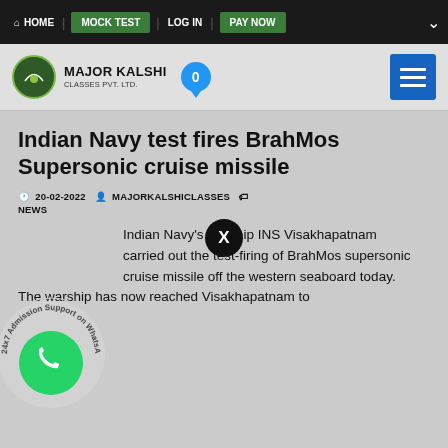HOME | MOCK TEST | LOG IN | PAY NOW
[Figure (logo): Major Kalshi Classes Pvt. Ltd. logo with notification badge and hamburger menu button]
Indian Navy test fires BrahMos Supersonic cruise missile
20-02-2022 MAJORKALSHICLASSES NEWS
Indian Navy's warship INS Visakhapatnam carried out the test-firing of BrahMos supersonic cruise missile off the western seaboard today. The warship has now reached Visakhapatnam to